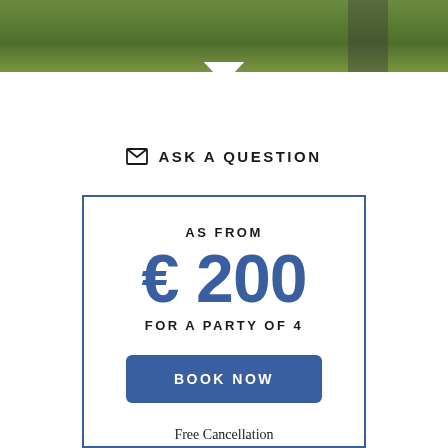[Figure (photo): Outdoor grassy landscape photo strip at top of page]
ASK A QUESTION
AS FROM
€ 200
FOR A PARTY OF 4
BOOK NOW
Free Cancellation
Instant Confirmation